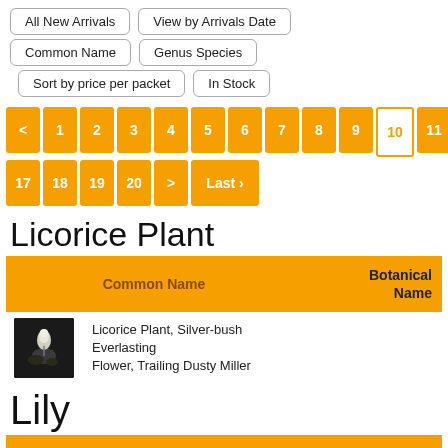All New Arrivals
View by Arrivals Date
Common Name
Genus Species
Sort by price per packet
In Stock
< 1 2 3 4 5 6 7 8 9 10 11 12 13 14 15 16 17 18 19 20 > Last ›
Licorice Plant
| Common Name | Botanical Name |
| --- | --- |
| Licorice Plant, Silver-bush Everlasting Flower, Trailing Dusty Miller |  |
Lily
| Common Name | Botanical |
| --- | --- |